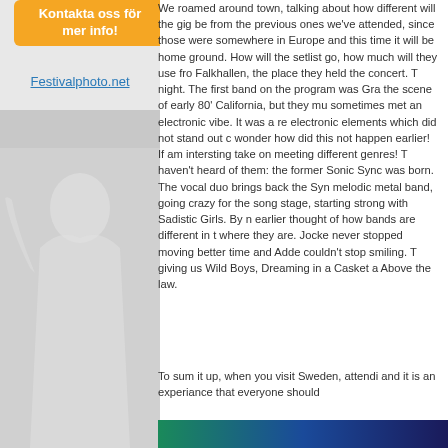[Figure (other): Orange button with white text 'Kontakta oss för mer info!']
Festivalphoto.net
[Figure (photo): Photo of performer on left side, with light gray silhouette background]
We roamed around town, talking about how different will the gig be from the previous ones we've attended, since those were somewhere in Europe and this time it will be home ground. How will the setlist go, how much will they use fro Falkhallen, the place they held the concert. T night. The first band on the program was Gra the scene of early 80' California, but they mu sometimes met an electronic vibe. It was a re electronic elements which did not stand out c wonder how did this not happen earlier! If am intersting take on meeting different genres! T haven't heard of them: the former Sonic Sync was born. The vocal duo brings back the Syn melodic metal band, going crazy for the song stage, starting strong with Sadistic Girls. By n earlier thought of how bands are different in t where they are. Jocke never stopped moving better time and Adde couldn't stop smiling. T giving us Wild Boys, Dreaming in a Casket a Above the law.
To sum it up, when you visit Sweden, attendi and it is an experiance that everyone should
-nati szephelyi-
[Figure (photo): Bottom color strip with teal to dark blue gradient]